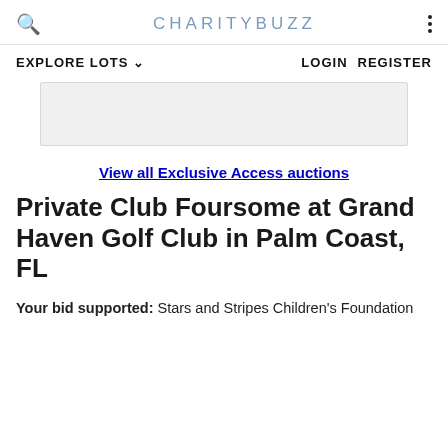CHARITYBUZZ
EXPLORE LOTS   LOGIN   REGISTER
[Figure (other): Partial image placeholder / banner area (white/light gray rectangle)]
View all Exclusive Access auctions
Private Club Foursome at Grand Haven Golf Club in Palm Coast, FL
Your bid supported: Stars and Stripes Children's Foundation